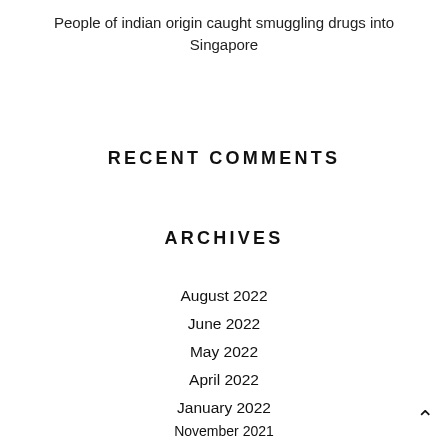People of indian origin caught smuggling drugs into Singapore
RECENT COMMENTS
ARCHIVES
August 2022
June 2022
May 2022
April 2022
January 2022
November 2021
October 2021
August 2021